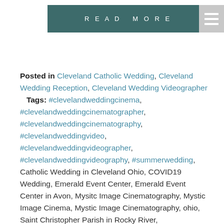[Figure (other): Teal/dark green 'READ MORE' button with white spaced uppercase text]
[Figure (other): Gray hamburger menu icon with three white horizontal bars]
Posted in Cleveland Catholic Wedding, Cleveland Wedding Reception, Cleveland Wedding Videographer   Tags: #clevelandweddingcinema, #clevelandweddingcinematographer, #clevelandweddingcinematography, #clevelandweddingvideo, #clevelandweddingvideographer, #clevelandweddingvideography, #summerwedding, Catholic Wedding in Cleveland Ohio, COVID19 Wedding, Emerald Event Center, Emerald Event Center in Avon, Mysitc Image Cinematography, Mystic Image Cinema, Mystic Image Cinematography, ohio, Saint Christopher Parish in Rocky River, stchristopherparish, videography,